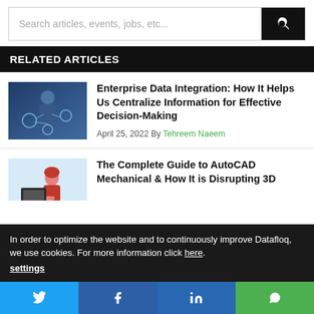[Figure (screenshot): Search bar with placeholder text 'Search articles, events, jobs, etc...' and a dark search button with magnifying glass icon]
RELATED ARTICLES
[Figure (photo): Man in suit pointing at digital network interface icons on blue background]
Enterprise Data Integration: How It Helps Us Centralize Information for Effective Decision-Making
April 25, 2022 By Tehreem Naeem
[Figure (illustration): Woman with red hair in red dress looking distressed at a computer monitor on light blue background]
The Complete Guide to AutoCAD Mechanical & How It is Disrupting 3D
In order to optimize the website and to continuously improve Datafloq, we use cookies. For more information click here. settings